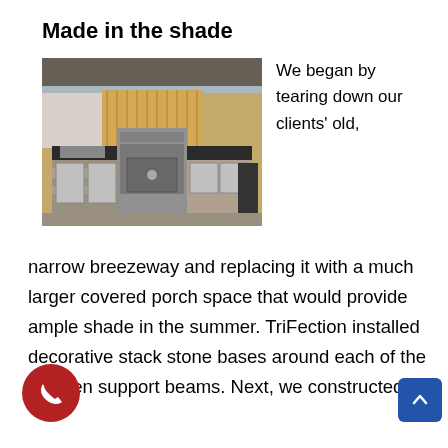Made in the shade
[Figure (photo): Outdoor kitchen with stainless steel grill, cabinetry, and stone veneer base under a covered porch with wooden fence in background]
We began by tearing down our clients' old,
narrow breezeway and replacing it with a much larger covered porch space that would provide ample shade in the summer. TriFection installed decorative stack stone bases around each of the wooden support beams. Next, we constructed a kitchen counter...